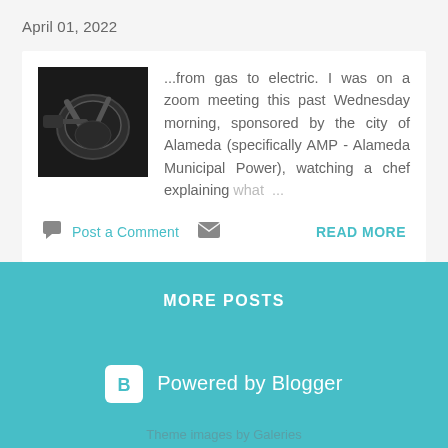April 01, 2022
[Figure (photo): Thumbnail photo of cooking pan and utensils on a white surface, dark background]
...from gas to electric. I was on a zoom meeting this past Wednesday morning, sponsored by the city of Alameda (specifically AMP - Alameda Municipal Power), watching a chef explaining what ...
Post a Comment
READ MORE
MORE POSTS
Powered by Blogger
Theme images by Galeries